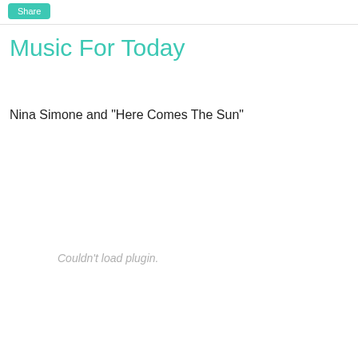Share
Music For Today
Nina Simone and "Here Comes The Sun"
Couldn't load plugin.